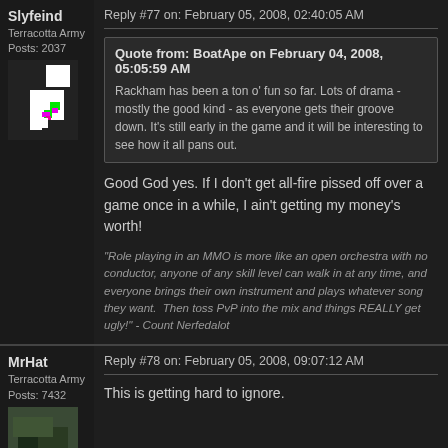Slyfeind
Terracotta Army
Posts: 2037
Reply #77 on: February 05, 2008, 02:40:05 AM
Quote from: BoatApe on February 04, 2008, 05:05:59 AM
Rackham has been a ton o' fun so far. Lots of drama - mostly the good kind - as everyone gets their groove down. It's still early in the game and it will be interesting to see how it all pans out.
Good God yes. If I don't get all-fire pissed off over a game once in a while, I ain't getting my money's worth!
"Role playing in an MMO is more like an open orchestra with no conductor, anyone of any skill level can walk in at any time, and everyone brings their own instrument and plays whatever song they want.  Then toss PvP into the mix and things REALLY get ugly!" - Count Nerfedalot
MrHat
Terracotta Army
Posts: 7432
Reply #78 on: February 05, 2008, 09:07:12 AM
This is getting hard to ignore.